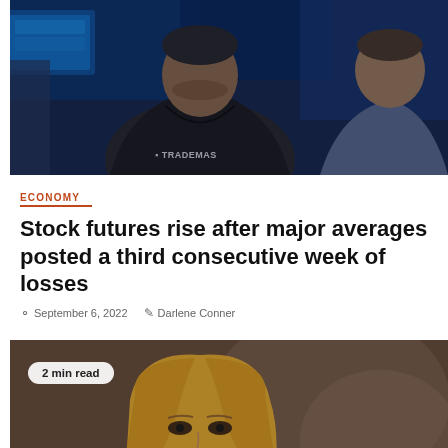[Figure (photo): Stock traders on a trading floor, man in dark jacket with 'TRADEMAS' visible on vest, blue screens in background, another man in grey suit on right]
ECONOMY
Stock futures rise after major averages posted a third consecutive week of losses
September 6, 2022   Darlene Conner
[Figure (photo): Close-up of a blonde woman looking upward, soft blurred background, with '2 min read' pill overlay in upper left]